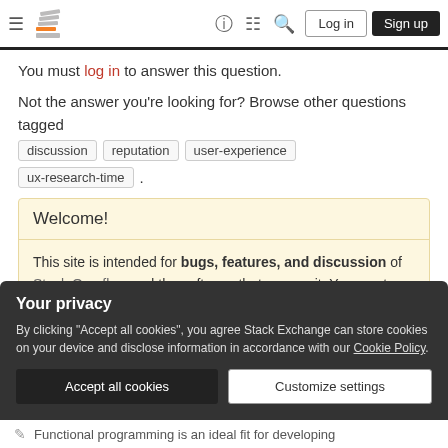Stack Overflow navigation bar with Log in and Sign up buttons
You must log in to answer this question.
Not the answer you're looking for? Browse other questions tagged discussion reputation user-experience ux-research-time .
Welcome!
This site is intended for bugs, features, and discussion of Stack Overflow and the software that powers it. You must have an account on Stack Overflow to participate.
Your privacy
By clicking "Accept all cookies", you agree Stack Exchange can store cookies on your device and disclose information in accordance with our Cookie Policy.
Accept all cookies   Customize settings
Functional programming is an ideal fit for developing